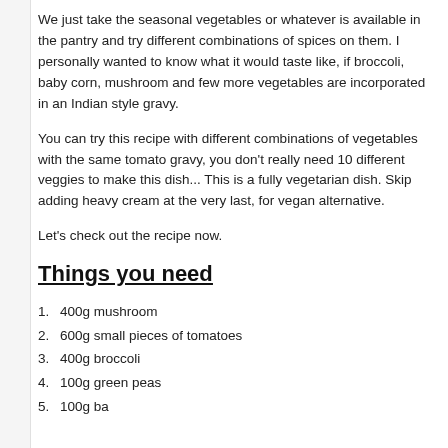We just take the seasonal vegetables or whatever is available in the pantry and try different combinations of spices on them. I personally wanted to know what it would taste like, if broccoli, baby corn, mushroom and few more vegetables are incorporated in an Indian style gravy.
You can try this recipe with different combinations of vegetables with the same tomato gravy, you don't really need 10 different veggies to make this dish... This is a fully vegetarian dish. Skip adding heavy cream at the very last, for vegan alternative.
Let's check out the recipe now.
Things you need
400g mushroom
600g small pieces of tomatoes
400g broccoli
100g green peas
100g baby corn